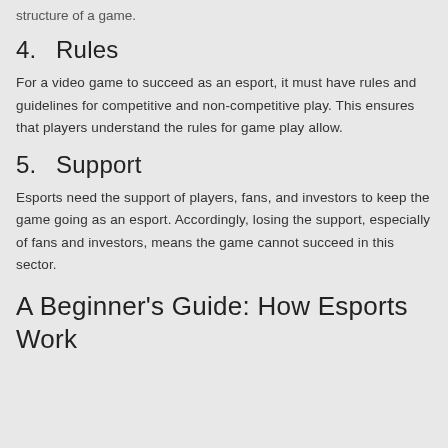structure of a game.
4.    Rules
For a video game to succeed as an esport, it must have rules and guidelines for competitive and non-competitive play. This ensures that players understand the rules for game play allow.
5.    Support
Esports need the support of players, fans, and investors to keep the game going as an esport. Accordingly, losing the support, especially of fans and investors, means the game cannot succeed in this sector.
A Beginner’s Guide: How Esports Work